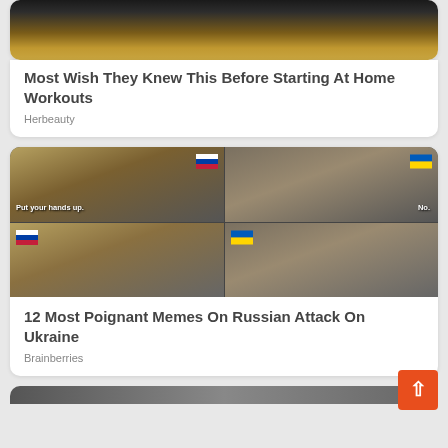[Figure (photo): Workout mat on wooden floor, close-up of hands]
Most Wish They Knew This Before Starting At Home Workouts
Herbeauty
[Figure (photo): Meme collage: four panels showing two men in a desert. Left panels have Russian flag emoji, right panels have Ukrainian flag emoji. Text 'Put your hands up.' and 'No.']
12 Most Poignant Memes On Russian Attack On Ukraine
Brainberries
[Figure (photo): Partial image of third article card at bottom]